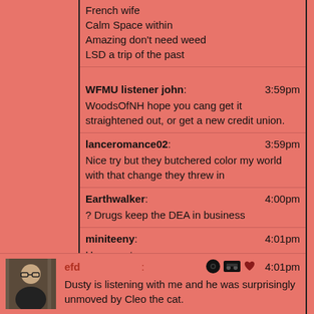French wife
Calm Space within
Amazing don't need weed
LSD a trip of the past
WFMU listener john: 3:59pm
WoodsOfNH hope you cang get it straightened out, or get a new credit union.
lanceromance02: 3:59pm
Nice try but they butchered color my world with that change they threw in
Earthwalker: 4:00pm
? Drugs keep the DEA in business
miniteeny: 4:01pm
Happy cat
listener James from Westwood: 4:01pm
Aw, purr machine!
efd: 4:01pm
Dusty is listening with me and he was surprisingly unmoved by Cleo the cat.